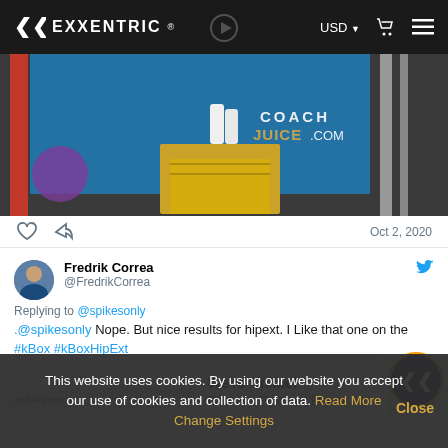EXXENTRIC ®  USD  [cart] [menu]
[Figure (screenshot): Video thumbnail showing person jumping onto plyo box in gym, CoachJuice.com watermark visible]
Oct 2, 2020
Fredrik Correa @FredrikCorrea
Replying to @spikesonly
.@spikesonly Nope. But nice results for hipext. I Like that one on the #kBox #kBoxHipExt
We're Online!
Chat to a Flywheel Expert!
This website uses cookies. By using our website you accept our use of cookies and collection of data. Read More Change Settings